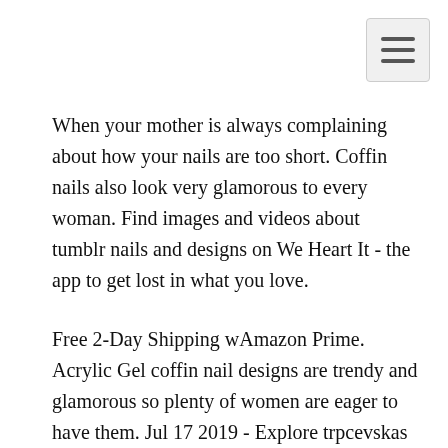[Figure (other): Navigation menu toggle button (hamburger icon) in top-right corner]
When your mother is always complaining about how your nails are too short. Coffin nails also look very glamorous to every woman. Find images and videos about tumblr nails and designs on We Heart It - the app to get lost in what you love.
Free 2-Day Shipping wAmazon Prime. Acrylic Gel coffin nail designs are trendy and glamorous so plenty of women are eager to have them. Jul 17 2019 - Explore trpcevskas board Tumblr nail art on Pinterest.
Discover more posts about acrylic-nail. Nailhaul nail polish minnie mouse minnie mouse nails art opi disney nails art mickey mouse. May 11 2021 - Explore Nagpalsonals board Nails tumblr on Pinterest.